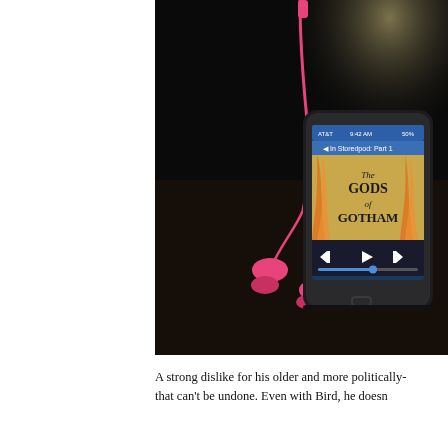@audiobookbento | audiobookbento.com
[Figure (photo): A smartphone displaying the audiobook cover of 'The Gods of Gotham' on its screen, with pink earbuds/headphones connected, resting on a dark wooden surface with ambient lighting.]
A strong dislike for his older and more politically- that can't be undone. Even with Bird, he doesn